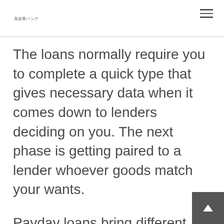美容業バンク
The loans normally require you to complete a quick type that gives necessary data when it comes down to lenders deciding on you. The next phase is getting paired to a lender whoever goods match your wants.
Payday loans bring different demands. The fundamental demands were associated with era, earnings, and residency restrictions. Regarding online